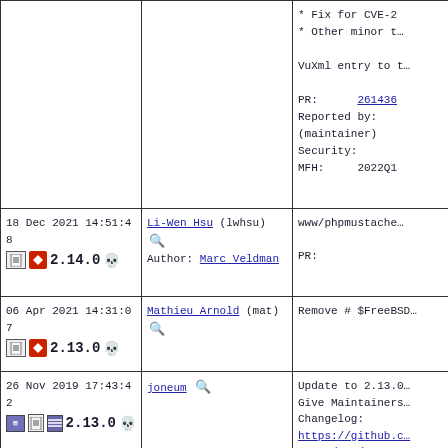| Date/Icons | Committer | Description |
| --- | --- | --- |
|  |  | * Fix for CVE-2
* Other minor ...

VuXml entry to ...

PR:      261436
Reported by:
(maintainer)
Security:
MFH:     2022Q1 |
| 18 Dec 2021 14:51:48
[icons] 2.14.0 💀 | Li-Wen Hsu (lwhsu) 🔍
Author: Marc Veldman | www/phpmustache

PR: |
| 06 Apr 2021 14:31:07
[icons] 2.13.0 💀 | Mathieu Arnold (mat) 🔍 | Remove # $FreeBSD |
| 26 Nov 2019 17:43:42
[icons] 2.13.0 💀 | joneum 🔍 | Update to 2.13.0
Give Maintainers:
Changelog:
https://github.c...
eases/tag/v2.13...

PR:
Submitted by:
<marc@bumblingd...
MFH:
Sponsored by: |